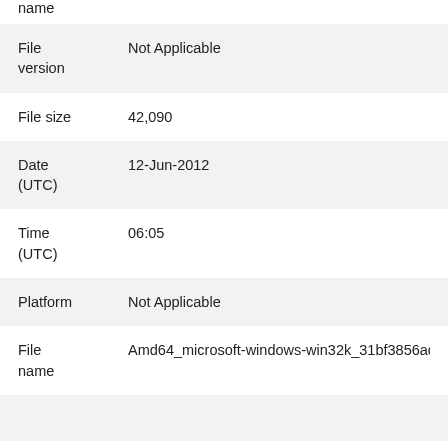name
| Field | Value |
| --- | --- |
| File version | Not Applicable |
| File size | 42,090 |
| Date (UTC) | 12-Jun-2012 |
| Time (UTC) | 06:05 |
| Platform | Not Applicable |
| File name | Amd64_microsoft-windows-win32k_31bf3856ad364e35 |